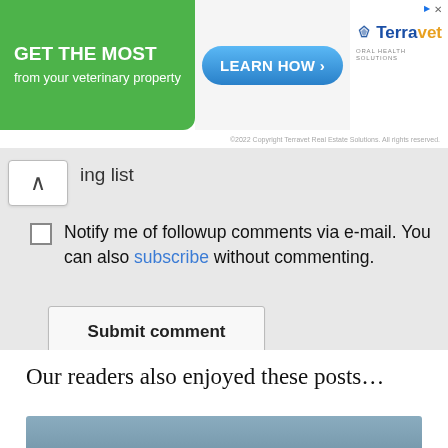[Figure (other): Advertisement banner: green section with 'GET THE MOST from your veterinary property', blue 'LEARN HOW' button, and Terravet logo with tagline 'ORAL HEALTH SOLUTIONS' and copyright text]
ing list
Notify me of followup comments via e-mail. You can also subscribe without commenting.
Submit comment
Our readers also enjoyed these posts…
[Figure (photo): Photo of green vegetables (possibly padron peppers or broccolini) on a plate]